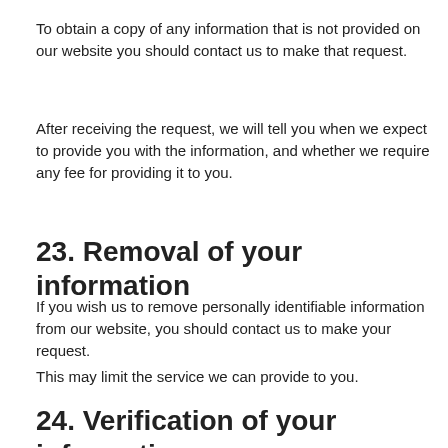To obtain a copy of any information that is not provided on our website you should contact us to make that request.
After receiving the request, we will tell you when we expect to provide you with the information, and whether we require any fee for providing it to you.
23. Removal of your information
If you wish us to remove personally identifiable information from our website, you should contact us to make your request.
This may limit the service we can provide to you.
24. Verification of your information